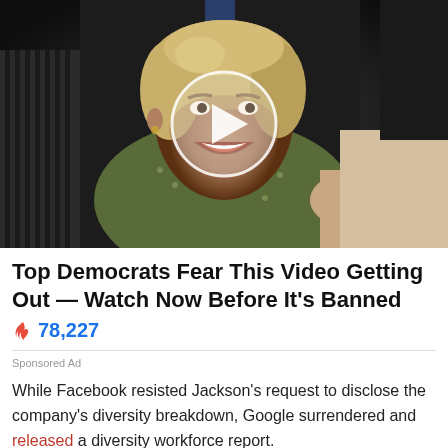[Figure (photo): A video thumbnail showing a woman with shoulder-length blonde hair and a green patterned jacket, laughing or yelling, surrounded by people in dark clothing. A large white circular play button overlay is centered on the image.]
Top Democrats Fear This Video Getting Out — Watch Now Before It's Banned
🔥 78,227
Sponsored Ad
While Facebook resisted Jackson's request to disclose the company's diversity breakdown, Google surrendered and released a diversity workforce report.